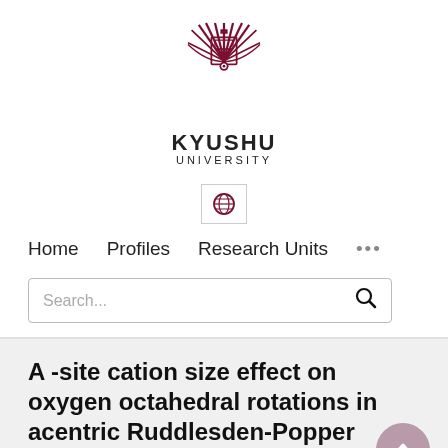[Figure (logo): Kyushu University logo: a stylized crest with radiating feathers/leaves around a central emblem in dark red/maroon color]
KYUSHU UNIVERSITY
[Figure (other): Globe icon in a bordered box, used as language/region selector in navigation]
Home   Profiles   Research Units   ...
Search...
A -site cation size effect on oxygen octahedral rotations in acentric Ruddlesden-Popper alkali rare-earth titanates